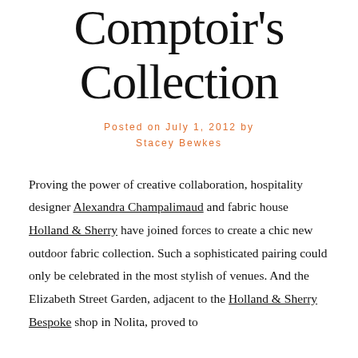Compton's Collection
Posted on July 1, 2012 by Stacey Bewkes
Proving the power of creative collaboration, hospitality designer Alexandra Champalimaud and fabric house Holland & Sherry have joined forces to create a chic new outdoor fabric collection. Such a sophisticated pairing could only be celebrated in the most stylish of venues. And the Elizabeth Street Garden, adjacent to the Holland & Sherry Bespoke shop in Nolita, proved to